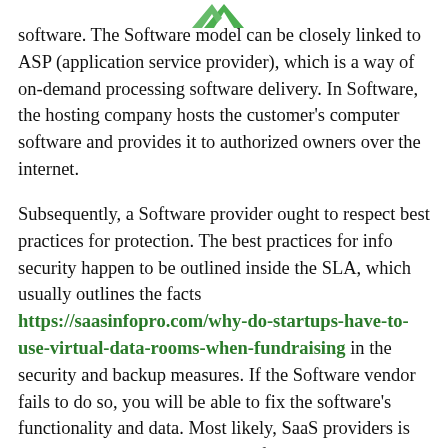[Figure (logo): Green arrow/leaf logo at the top center of the page, partially visible]
software. The Software model can be closely linked to ASP (application service provider), which is a way of on-demand processing software delivery. In Software, the hosting company hosts the customer's computer software and provides it to authorized owners over the internet.
Subsequently, a Software provider ought to respect best practices for protection. The best practices for info security happen to be outlined inside the SLA, which usually outlines the facts https://saasinfopro.com/why-do-startups-have-to-use-virtual-data-rooms-when-fundraising in the security and backup measures. If the Software vendor fails to do so, you will be able to fix the software's functionality and data. Most likely, SaaS providers is going to comply with this kind of policy. These standards contain authentication and credential supervision, as well as frequent backups.